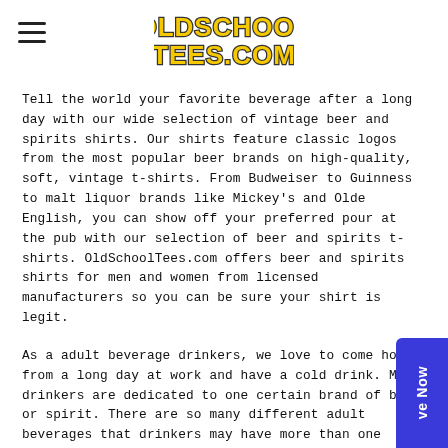[Figure (logo): OldSchoolTees.com logo in yellow with black outline text]
Tell the world your favorite beverage after a long day with our wide selection of vintage beer and spirits shirts. Our shirts feature classic logos from the most popular beer brands on high-quality, soft, vintage t-shirts. From Budweiser to Guinness to malt liquor brands like Mickey's and Olde English, you can show off your preferred pour at the pub with our selection of beer and spirits t-shirts. OldSchoolTees.com offers beer and spirits shirts for men and women from licensed manufacturers so you can be sure your shirt is legit.
As a adult beverage drinkers, we love to come home from a long day at work and have a cold drink. Many drinkers are dedicated to one certain brand of beer or spirit. There are so many different adult beverages that drinkers may have more than one favorite beer or spirit. Enjoying a beer is great, but wearing your favorite beer t-shirt when you drink your beer is even better.